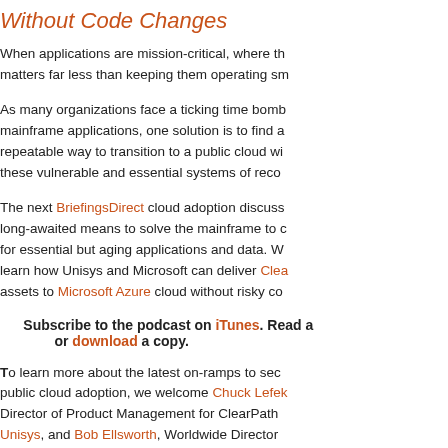Without Code Changes
When applications are mission-critical, where the matters far less than keeping them operating sm...
As many organizations face a ticking time bomb mainframe applications, one solution is to find a repeatable way to transition to a public cloud wi these vulnerable and essential systems of reco...
The next BriefingsDirect cloud adoption discuss long-awaited means to solve the mainframe to for essential but aging applications and data. W learn how Unisys and Microsoft can deliver Clea assets to Microsoft Azure cloud without risky co...
Subscribe to the podcast on iTunes. Read a or download a copy.
To learn more about the latest on-ramps to sec public cloud adoption, we welcome Chuck Lefel Director of Product Management for ClearPath Unisys, and Bob Ellsworth, Worldwide Director Transformation at Microsoft. The discussion is m Dana Gardner, Principal Analyst at Interarbor S...
Subscribe to the podcast on iTunes. Read a...